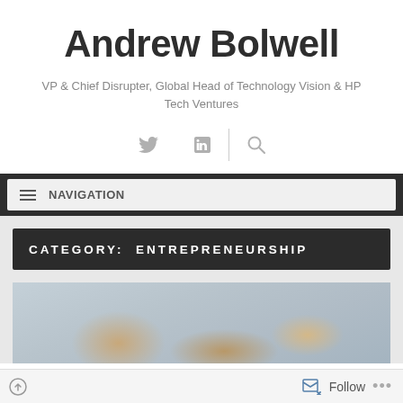Andrew Bolwell
VP & Chief Disrupter, Global Head of Technology Vision & HP Tech Ventures
[Figure (other): Social media icons: Twitter bird, LinkedIn 'in', and search magnifying glass, separated by a vertical divider line]
NAVIGATION
CATEGORY: ENTREPRENEURSHIP
[Figure (photo): Photograph of people joining hands together in a collaborative gesture, muted blue-grey tones]
Follow ...